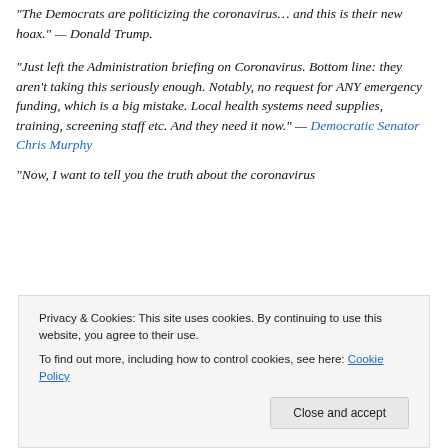“The Democrats are politicizing the coronavirus… and this is their new hoax.” — Donald Trump.
“Just left the Administration briefing on Coronavirus. Bottom line: they aren’t taking this seriously enough. Notably, no request for ANY emergency funding, which is a big mistake. Local health systems need supplies, training, screening staff etc. And they need it now.” — Democratic Senator Chris Murphy
“Now, I want to tell you the truth about the coronavirus
Privacy & Cookies: This site uses cookies. By continuing to use this website, you agree to their use.
To find out more, including how to control cookies, see here: Cookie Policy